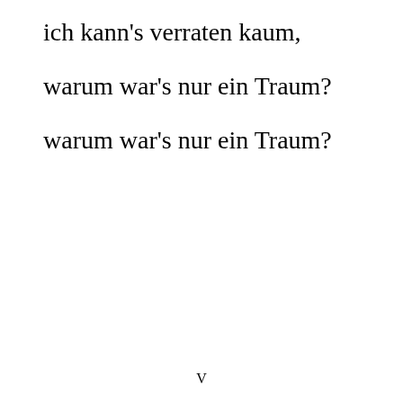ich kann's verraten kaum,
warum war's nur ein Traum?
warum war's nur ein Traum?
V